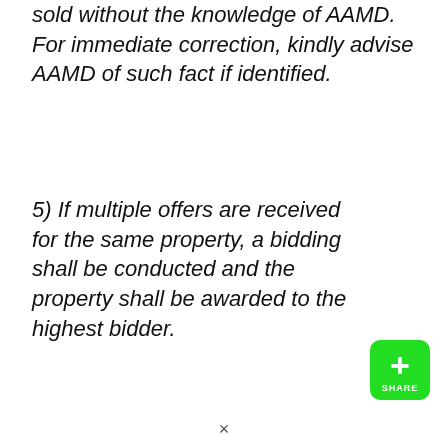sold without the knowledge of AAMD. For immediate correction, kindly advise AAMD of such fact if identified.
5) If multiple offers are received for the same property, a bidding shall be conducted and the property shall be awarded to the highest bidder.